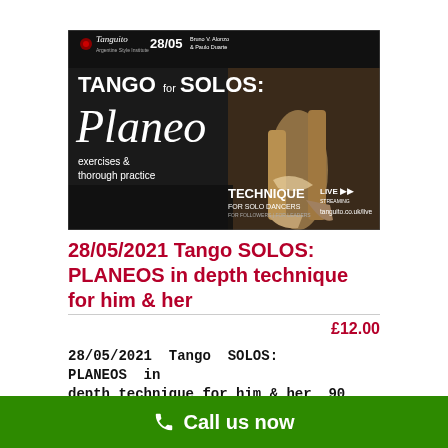[Figure (illustration): Promotional poster for Tango for Solos: Planeo event on 28/05, showing tango dancer legs and text including TANGO for SOLOS: Planeo, exercises & thorough practice, TECHNIQUE FOR SOLO DANCERS, LIVE STREAMING, tanguito.co.uk/live]
28/05/2021 Tango SOLOS: PLANEOS in depth technique for him & her
£12.00
28/05/2021 Tango SOLOS: PLANEOS in depth technique for him & her, 90 min.
Call us now